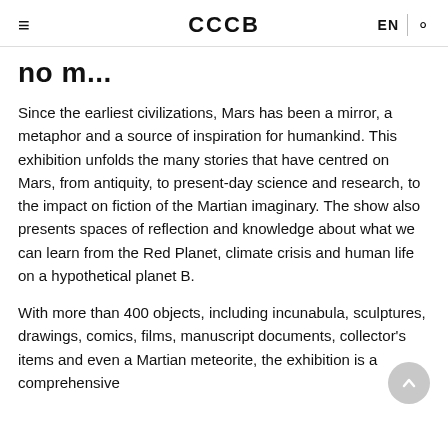≡   CCCB   EN   🔍
no m...
Since the earliest civilizations, Mars has been a mirror, a metaphor and a source of inspiration for humankind. This exhibition unfolds the many stories that have centred on Mars, from antiquity, to present-day science and research, to the impact on fiction of the Martian imaginary. The show also presents spaces of reflection and knowledge about what we can learn from the Red Planet, climate crisis and human life on a hypothetical planet B.
With more than 400 objects, including incunabula, sculptures, drawings, comics, films, manuscript documents, collector's items and even a Martian meteorite, the exhibition is a comprehensive